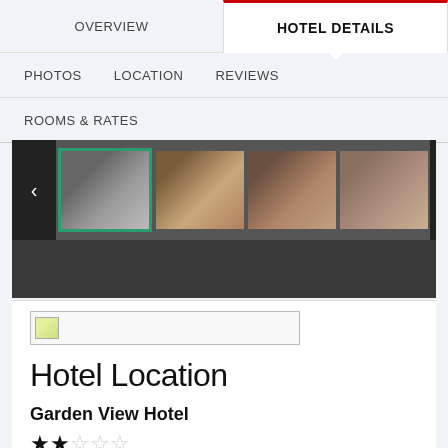OVERVIEW | HOTEL DETAILS | PHOTOS | LOCATION | REVIEWS | ROOMS & RATES
[Figure (photo): Hotel photo thumbnail gallery strip with left arrow, selected exterior photo, bedroom photos, and right arrow navigation]
[Figure (photo): Map placeholder image for hotel location]
Hotel Location
Garden View Hotel
★★☆☆☆
29-31 Nevern Square,London,GB,United Kingdom